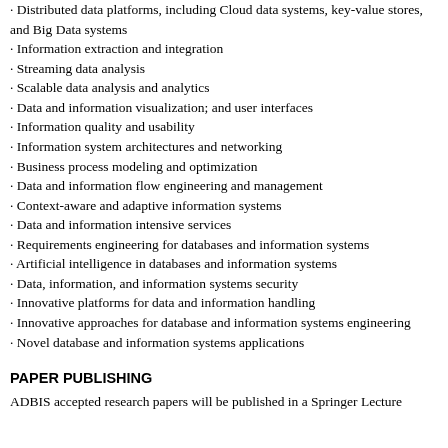· Distributed data platforms, including Cloud data systems, key-value stores, and Big Data systems
· Information extraction and integration
· Streaming data analysis
· Scalable data analysis and analytics
· Data and information visualization; and user interfaces
· Information quality and usability
· Information system architectures and networking
· Business process modeling and optimization
· Data and information flow engineering and management
· Context-aware and adaptive information systems
· Data and information intensive services
· Requirements engineering for databases and information systems
· Artificial intelligence in databases and information systems
· Data, information, and information systems security
· Innovative platforms for data and information handling
· Innovative approaches for database and information systems engineering
· Novel database and information systems applications
PAPER PUBLISHING
ADBIS accepted research papers will be published in a Springer Lecture